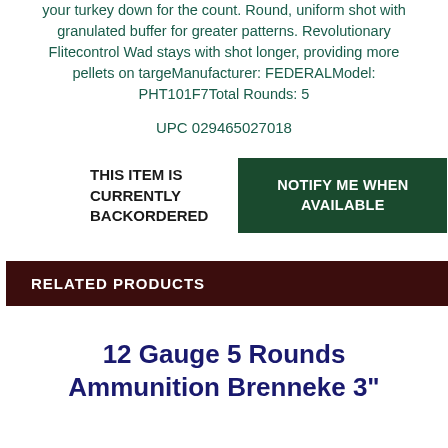your turkey down for the count. Round, uniform shot with granulated buffer for greater patterns. Revolutionary Flitecontrol Wad stays with shot longer, providing more pellets on targeManufacturer: FEDERALModel: PHT101F7Total Rounds: 5
UPC 029465027018
THIS ITEM IS CURRENTLY BACKORDERED
NOTIFY ME WHEN AVAILABLE
RELATED PRODUCTS
12 Gauge 5 Rounds Ammunition Brenneke 3"